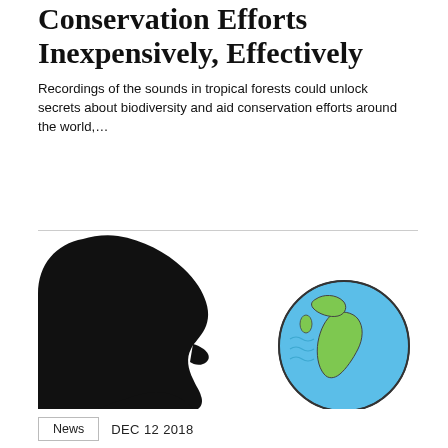Conservation Efforts Inexpensively, Effectively
Recordings of the sounds in tropical forests could unlock secrets about biodiversity and aid conservation efforts around the world,...
[Figure (illustration): Illustration of a black silhouette of a human head in profile facing right, as if speaking or blowing, with a colorful hand-drawn globe (Earth with blue oceans and green continents) positioned near the mouth area on the right side.]
News   DEC 12 2018